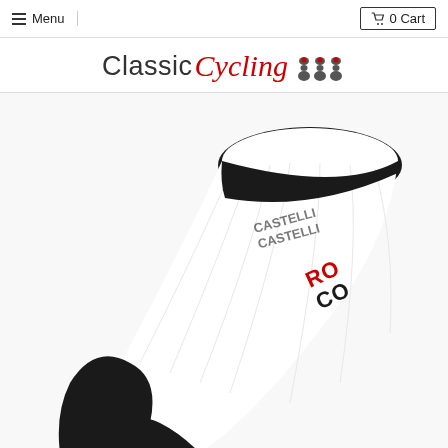Menu | 0 Cart
[Figure (logo): Classic Cycling logo with red italic script for Cycling and three dark bowling pin icons]
[Figure (photo): Close-up photo of a white Castelli cycling sock with black toe and heel, black cuff band, and red/black Castelli logo on the side]